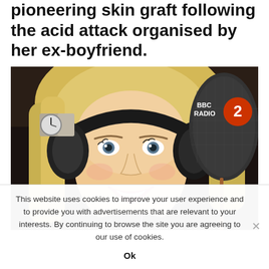pioneering skin graft following the acid attack organised by her ex-boyfriend.
[Figure (photo): A smiling blonde woman wearing black headphones in a BBC Radio 2 studio, sitting in front of a large dark microphone with the BBC Radio 2 logo visible.]
This website uses cookies to improve your user experience and to provide you with advertisements that are relevant to your interests. By continuing to browse the site you are agreeing to our use of cookies.
Ok